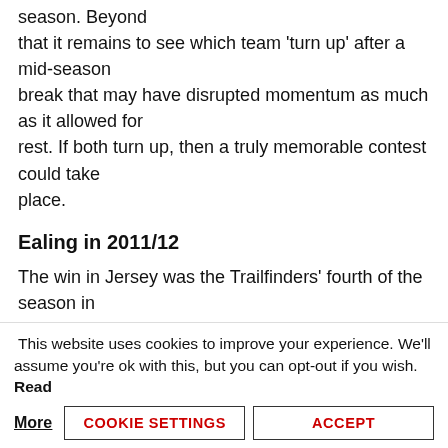season. Beyond that it remains to see which team 'turn up' after a mid-season break that may have disrupted momentum as much as it allowed for rest. If both turn up, then a truly memorable contest could take place.
Ealing in 2011/12
The win in Jersey was the Trailfinders' fourth of the season in as many matches and the winning run was stretched to nine games before an off-day at Barking at the end of October, when Jersey old boy Andrew Henderson was among the scorers in a 22-
This website uses cookies to improve your experience. We'll assume you're ok with this, but you can opt-out if you wish. Read More
COOKIE SETTINGS
ACCEPT